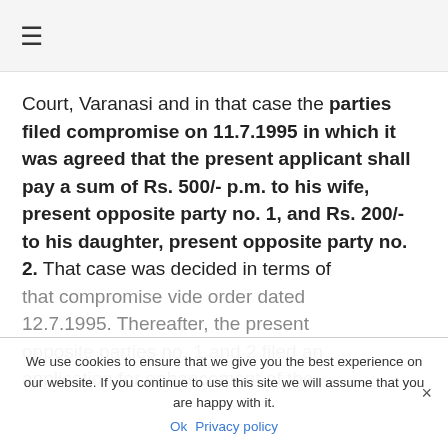≡
Court, Varanasi and in that case the parties filed compromise on 11.7.1995 in which it was agreed that the present applicant shall pay a sum of Rs. 500/- p.m. to his wife, present opposite party no. 1, and Rs. 200/- to his daughter, present opposite party no. 2. That case was decided in terms of that compromise vide order dated 12.7.1995. Thereafter, the present opposite parties no. 1 and 2 filed an application for enhancement of the
We use cookies to ensure that we give you the best experience on our website. If you continue to use this site we will assume that you are happy with it. Ok Privacy policy ×